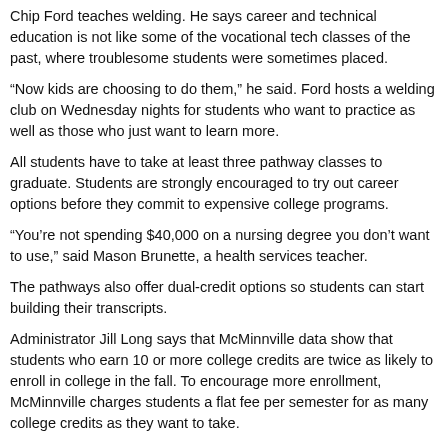Chip Ford teaches welding. He says career and technical education is not like some of the vocational tech classes of the past, where troublesome students were sometimes placed.
“Now kids are choosing to do them,” he said. Ford hosts a welding club on Wednesday nights for students who want to practice as well as those who just want to learn more.
All students have to take at least three pathway classes to graduate. Students are strongly encouraged to try out career options before they commit to expensive college programs.
“You’re not spending $40,000 on a nursing degree you don’t want to use,” said Mason Brunette, a health services teacher.
The pathways also offer dual-credit options so students can start building their transcripts.
Administrator Jill Long says that McMinnville data show that students who earn 10 or more college credits are twice as likely to enroll in college in the fall. To encourage more enrollment, McMinnville charges students a flat fee per semester for as many college credits as they want to take.
“When you offer classes that give them college credit and give them the opportunity to try career fields, we regain the senior year back,” Vicknair said. “They are here because they want to be here.”
- Jake Arnold, OSBA
jarnold@osba.org